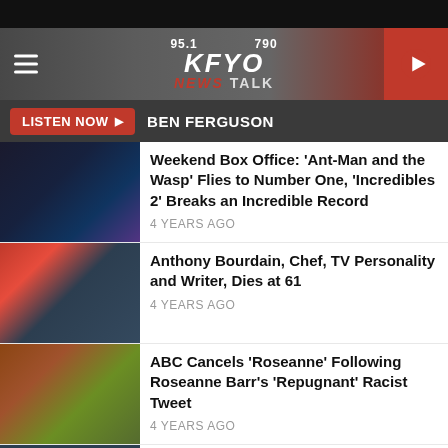[Figure (screenshot): KFYO 95.1 / 790 News Talk radio station website header banner with logo]
LISTEN NOW ▶  BEN FERGUSON
Weekend Box Office: 'Ant-Man and the Wasp' Flies to Number One, 'Incredibles 2' Breaks an Incredible Record
4 YEARS AGO
Anthony Bourdain, Chef, TV Personality and Writer, Dies at 61
4 YEARS AGO
ABC Cancels 'Roseanne' Following Roseanne Barr's 'Repugnant' Racist Tweet
4 YEARS AGO
Harvey Weinstein Has Been Arrested S...